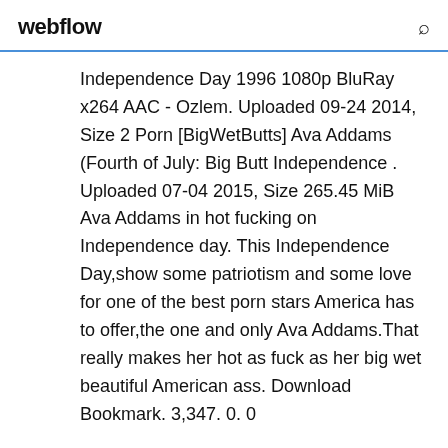webflow
Independence Day 1996 1080p BluRay x264 AAC - Ozlem. Uploaded 09-24 2014, Size 2 Porn [BigWetButts] Ava Addams (Fourth of July: Big Butt Independence . Uploaded 07-04 2015, Size 265.45 MiB Ava Addams in hot fucking on Independence day. This Independence Day,show some patriotism and some love for one of the best porn stars America has to offer,the one and only Ava Addams.That really makes her hot as fuck as her big wet beautiful American ass. Download Bookmark. 3,347. 0. 0